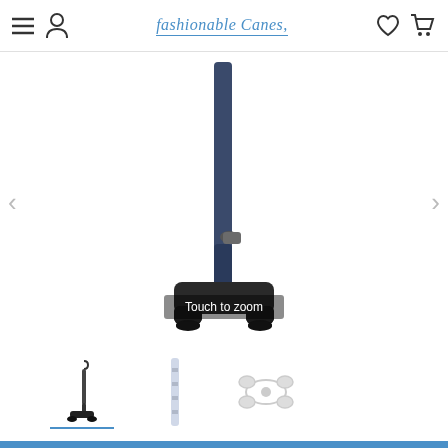Fashionable Canes — website navigation bar
[Figure (photo): Close-up product photo of a quad cane base with telescoping shaft, showing the wide four-legged base and adjustment knob, on white background. Overlay text reads 'Touch to zoom'.]
[Figure (photo): Thumbnail image of a full quad cane (small size) showing the full cane with handle and quad base.]
[Figure (photo): Thumbnail image showing the cane shaft detail in white/silver.]
[Figure (photo): Thumbnail image showing the quad base from a top-down angle.]